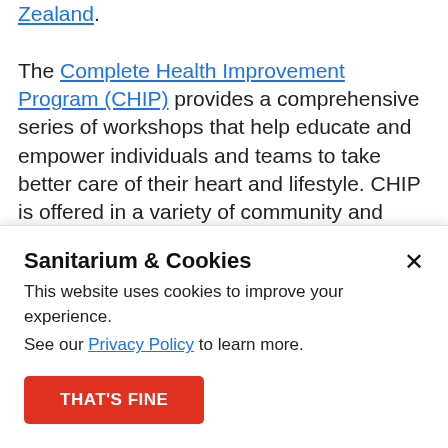Zealand. The Complete Health Improvement Program (CHIP) provides a comprehensive series of workshops that help educate and empower individuals and teams to take better care of their heart and lifestyle. CHIP is offered in a variety of community and work based settings around Australia and New Zealand. If you or your workplace would like to be involved, contact the
Sanitarium & Cookies
This website uses cookies to improve your experience.
See our Privacy Policy to learn more.
THAT'S FINE